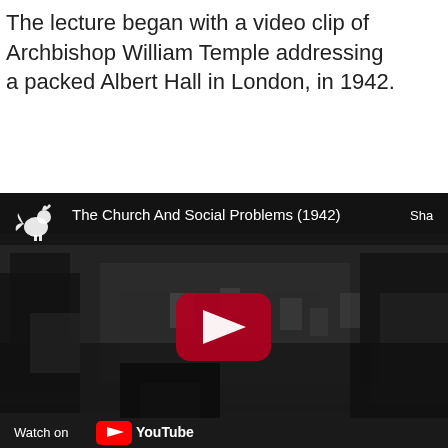The lecture began with a video clip of Archbishop William Temple addressing a packed Albert Hall in London, in 1942.
[Figure (screenshot): YouTube video embed showing 'The Church And Social Problems (1942)' — a black and white still of a packed auditorium with a red YouTube play button in the center. Bottom bar shows 'Watch on YouTube'.]